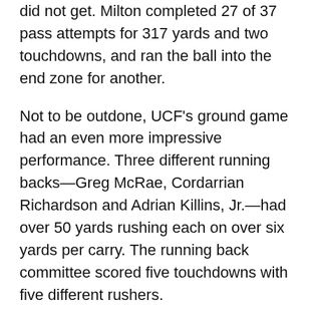did not get. Milton completed 27 of 37 pass attempts for 317 yards and two touchdowns, and ran the ball into the end zone for another.
Not to be outdone, UCF's ground game had an even more impressive performance. Three different running backs—Greg McRae, Cordarrian Richardson and Adrian Killins, Jr.—had over 50 yards rushing each on over six yards per carry. The running back committee scored five touchdowns with five different rushers.
UCF improves to 5-0 on the year and all signs point to an epic showdown between them and South Florida in the final week of the season, a game that will likely decide the American East division.
Memphis 30, Navy 27